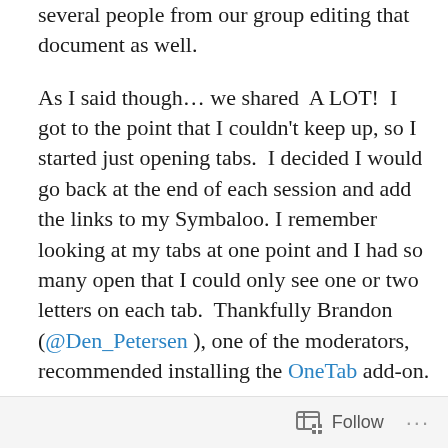several people from our group editing that document as well.

As I said though… we shared  A LOT!  I got to the point that I couldn't keep up, so I started just opening tabs.  I decided I would go back at the end of each session and add the links to my Symbaloo. I remember looking at my tabs at one point and I had so many open that I could only see one or two letters on each tab.  Thankfully Brandon (@Den_Petersen ), one of the moderators, recommended installing the OneTab add-on.

OneTab is a Chrome/Firefox add-on for website curation.  It is by far, the easiest webpage curation tool I have ever used.  Here's how it works: Open as many tabs in your browser as you want.  When you got tired of looking at all
Follow ···